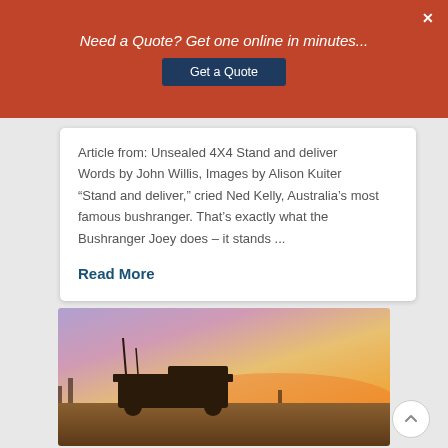Need a Quote? Get one online in minutes...
Article from: Unsealed 4X4 Stand and deliver Words by John Willis, Images by Alison Kuiter “Stand and deliver,” cried Ned Kelly, Australia’s most famous bushranger. That’s exactly what the Bushranger Joey does – it stands ...
Read More
[Figure (photo): A 4WD vehicle silhouetted against a vivid sunset sky with purple, pink and orange hues in an outback/desert setting.]